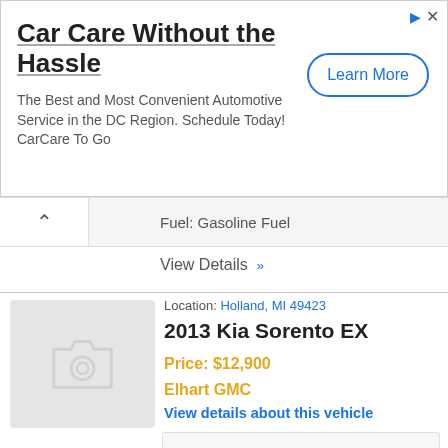[Figure (infographic): Advertisement banner for Car Care Without the Hassle automotive service with Learn More button]
Car Care Without the Hassle
The Best and Most Convenient Automotive Service in the DC Region. Schedule Today! CarCare To Go
Fuel: Gasoline Fuel
View Details »
Location: Holland, MI 49423
2013 Kia Sorento EX
Price: $12,900
Elhart GMC
View details about this vehicle
[Figure (photo): Placeholder image with camera icon for 2013 Kia Sorento EX]
5XYKU4A60DG327778
L4 2-4L
Automatic
Fuel: Gasoline Fuel